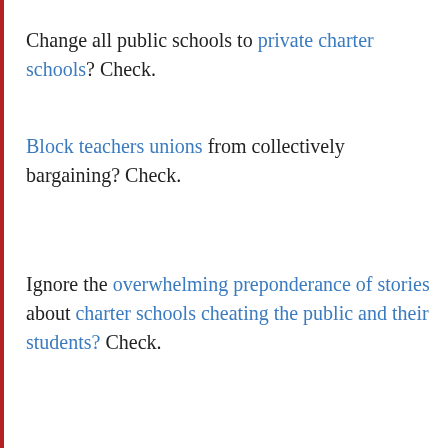Change all public schools to private charter schools? Check.
Block teachers unions from collectively bargaining? Check.
Ignore the overwhelming preponderance of stories about charter schools cheating the public and their students? Check.